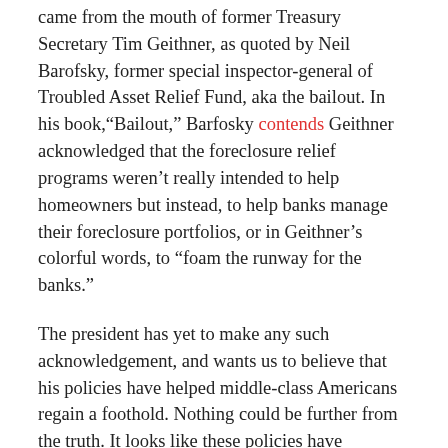came from the mouth of former Treasury Secretary Tim Geithner, as quoted by Neil Barofsky, former special inspector-general of Troubled Asset Relief Fund, aka the bailout. In his book,“Bailout,” Barfosky contends Geithner acknowledged that the foreclosure relief programs weren’t really intended to help homeowners but instead, to help banks manage their foreclosure portfolios, or in Geithner’s colorful words, to “foam the runway for the banks.”
The president has yet to make any such acknowledgement, and wants us to believe that his policies have helped middle-class Americans regain a foothold. Nothing could be further from the truth. It looks like these policies have facilitated a massive takeover of the affordable U.S. housing market by the same speculators who brought it down.